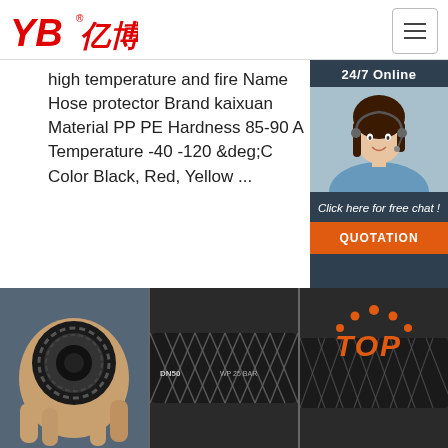[Figure (logo): YB亿博 brand logo in red italic text with registered trademark symbol]
[Figure (other): Hamburger/navigation menu icon button in top right corner]
high temperature and fire Name Hose protector Brand kaixuan Material PP PE Hardness 85-90 A Temperature -40 -120 &deg;C Color Black, Red, Yellow ...
[Figure (other): Green 'Get Price' button]
[Figure (other): 24/7 Online sidebar with agent photo, 'Click here for free chat!' text and orange QUOTATION button]
[Figure (photo): Close-up of a black hydraulic hose end cross-section held in hand]
[Figure (photo): Close-up side view of a braided hydraulic hose]
[Figure (other): TOP logo with orange dot pattern and orange italic text on dark braided hose background]